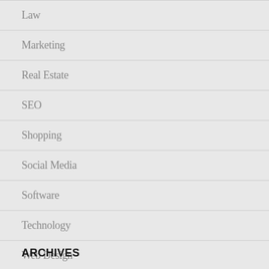Law
Marketing
Real Estate
SEO
Shopping
Social Media
Software
Technology
Web Design
ARCHIVES